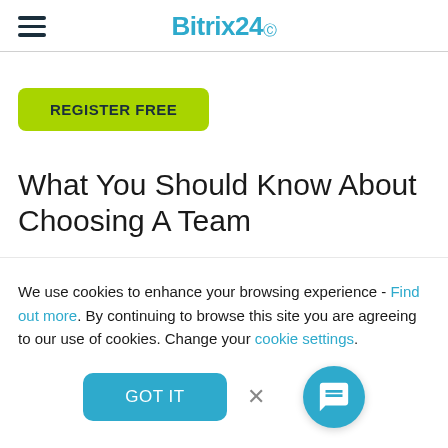Bitrix24
[Figure (screenshot): Green REGISTER FREE button]
What You Should Know About Choosing A Team
We use cookies to enhance your browsing experience - Find out more. By continuing to browse this site you are agreeing to our use of cookies. Change your cookie settings.
[Figure (screenshot): GOT IT button and close X, with blue chat FAB button]